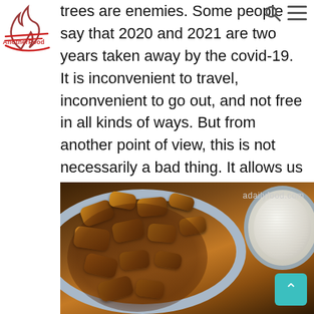trees are enemies. Some people say that 2020 and 2021 are two years taken away by the covid-19. It is inconvenient to travel, inconvenient to go out, and not free in all kinds of ways. But from another point of view, this is not necessarily a bad thing. It allows us to reflect on ourselves better and have more time to return to life. After all, being too busy can make people lose their souls. Let's move forward with hope and believe that tomorrow will be better.
[Figure (photo): A plate of braised or stir-fried food pieces in brown sauce served in a blue and white patterned bowl, with a bowl of white rice visible on the right side. Watermark reads adailyfood.com]